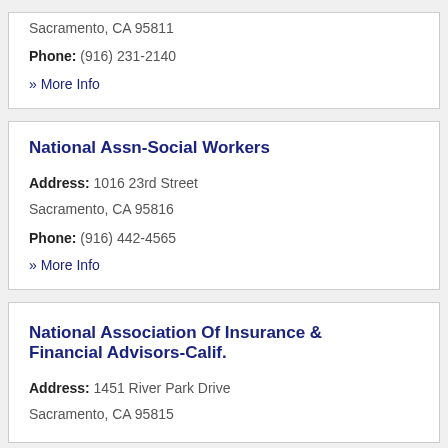Sacramento, CA 95811
Phone: (916) 231-2140
» More Info
National Assn-Social Workers
Address: 1016 23rd Street
Sacramento, CA 95816
Phone: (916) 442-4565
» More Info
National Association Of Insurance & Financial Advisors-Calif.
Address: 1451 River Park Drive
Sacramento, CA 95815